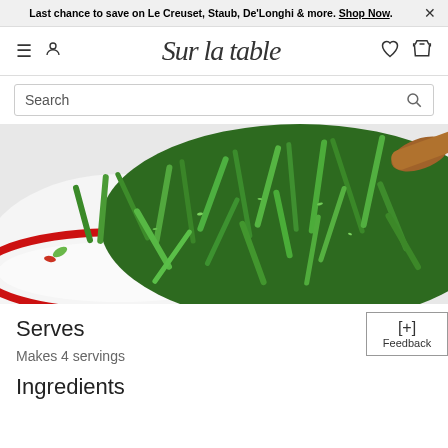Last chance to save on Le Creuset, Staub, De'Longhi & more. Shop Now.
Sur la table
Search
[Figure (photo): Close-up photo of cooked green beans (haricots verts) in a white bowl with red rim, with a wooden spoon visible at top right]
Serves
Makes 4 servings
Ingredients